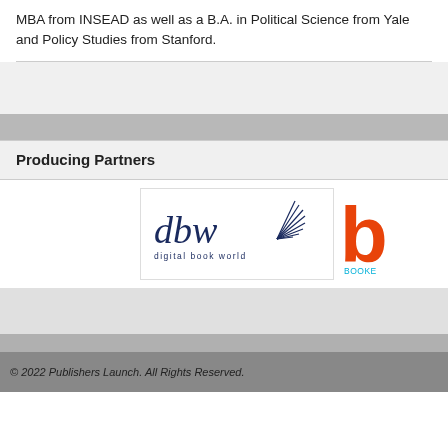MBA from INSEAD as well as a B.A. in Political Science from Yale and Policy Studies from Stanford.
Producing Partners
[Figure (logo): Digital Book World (dbw) logo with stylized text and book pages icon, subtitle 'digital book world']
[Figure (logo): Partial logo starting with orange letter 'b' and text 'BOOKE...' (partially visible, cropped)]
© 2022 Publishers Launch. All Rights Reserved.